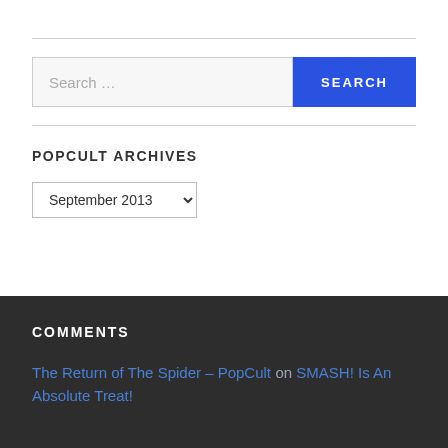[Figure (screenshot): Search bar with text 'Search ...' and a blue SEARCH button]
POPCULT ARCHIVES
[Figure (screenshot): Dropdown select box showing 'September 2013']
COMMENTS
The Return of The Spider – PopCult on SMASH! Is An Absolute Treat!